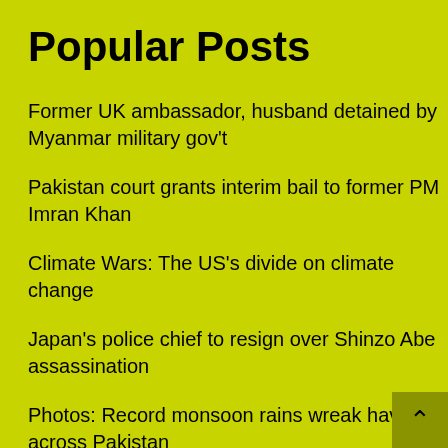Popular Posts
Former UK ambassador, husband detained by Myanmar military gov't
Pakistan court grants interim bail to former PM Imran Khan
Climate Wars: The US's divide on climate change
Japan's police chief to resign over Shinzo Abe assassination
Photos: Record monsoon rains wreak havoc across Pakistan